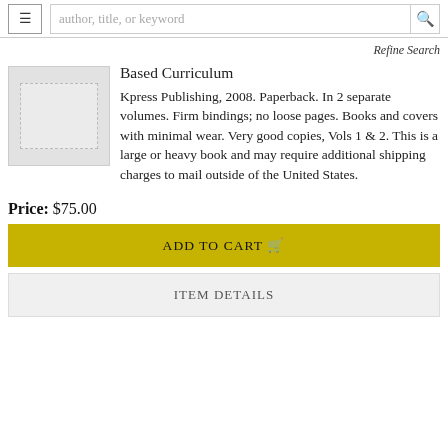author, title, or keyword
Refine Search
Based Curriculum
Kpress Publishing, 2008. Paperback. In 2 separate volumes. Firm bindings; no loose pages. Books and covers with minimal wear. Very good copies, Vols 1 & 2. This is a large or heavy book and may require additional shipping charges to mail outside of the United States.
Price: $75.00
ADD TO CART
ITEM DETAILS